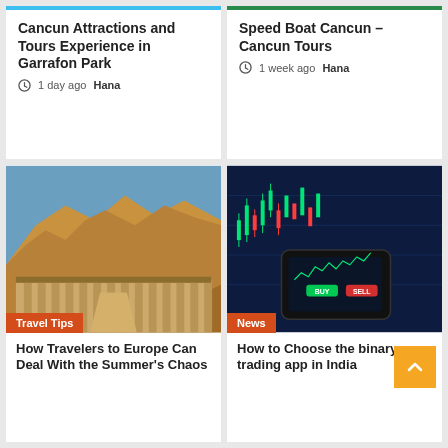Cancun Attractions and Tours Experience in Garrafon Park
1 day ago  Hana
Speed Boat Cancun – Cancun Tours
1 week ago  Hana
[Figure (photo): Ancient Egyptian temple (Hatshepsut) with cliff rocks in background]
Travel Tips
[Figure (photo): Dark stock trading app on smartphone with green candlestick chart]
News
How Travelers to Europe Can Deal With the Summer's Chaos
How to Choose the binary trading app in India